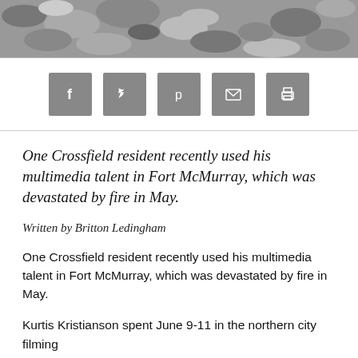[Figure (photo): Aerial or close-up photo of rubble/debris, likely fire damage, in grayscale tones]
[Figure (infographic): Social sharing icon buttons: Facebook, Twitter, Pinterest, Email, Print — grey square icons]
One Crossfield resident recently used his multimedia talent in Fort McMurray, which was devastated by fire in May.
Written by Britton Ledingham
One Crossfield resident recently used his multimedia talent in Fort McMurray, which was devastated by fire in May.
Kurtis Kristianson spent June 9-11 in the northern city filming